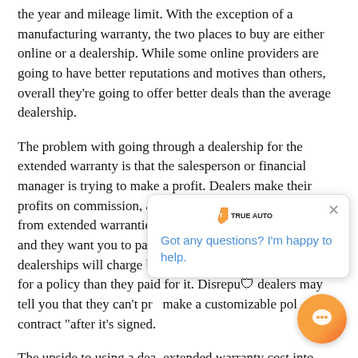the year and mileage limit. With the exception of a manufacturing warranty, the two places to buy are either online or a dealership. While some online providers are going to have better reputations and motives than others, overall they're going to offer better deals than the average dealership.
The problem with going through a dealership for the extended warranty is that the salesperson or financial manager is trying to make a profit. Dealers make their profits on commission, and a hefty portion of that comes from extended warranties. Naturally, they want you to buy and they want you to pay as much as possible. Some dealerships will charge between 50 and 90 percent more for a policy than they paid for it. Disrepu... dealers may tell you that they can't pro... make a customizable pol... contract "after it's signed...
The upside to using a dea... extended warranty cost into your monthly vehicle payments. While that certainly is convenient, it may... worth it for the added expense. You could buy thro... dealership effectively if you did a lot of research, kn... what deals you could get elsewhere, and were able to...
[Figure (other): Chat popup widget from TrueAuto showing a logo with a shield icon and text 'Got any questions? I'm happy to help.' with a close (X) button, and an orange circular chat button in the bottom right corner.]